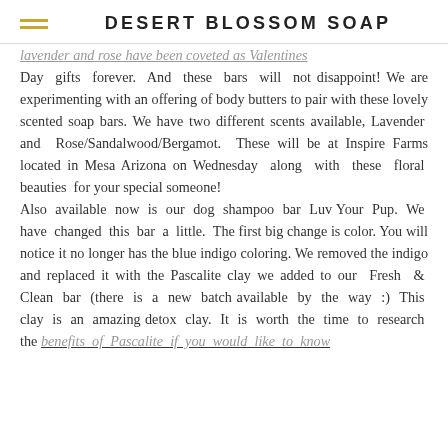DESERT BLOSSOM SOAP
lavender and rose have been coveted as Valentines Day gifts forever. And these bars will not disappoint! We are experimenting with an offering of body butters to pair with these lovely scented soap bars. We have two different scents available, Lavender and Rose/Sandalwood/Bergamot. These will be at Inspire Farms located in Mesa Arizona on Wednesday along with these floral beauties for your special someone! Also available now is our dog shampoo bar Luv Your Pup. We have changed this bar a little. The first big change is color. You will notice it no longer has the blue indigo coloring. We removed the indigo and replaced it with the Pascalite clay we added to our Fresh & Clean bar (there is a new batch available by the way :) This clay is an amazing detox clay. It is worth the time to research the benefits of Pascalite if you would like to know